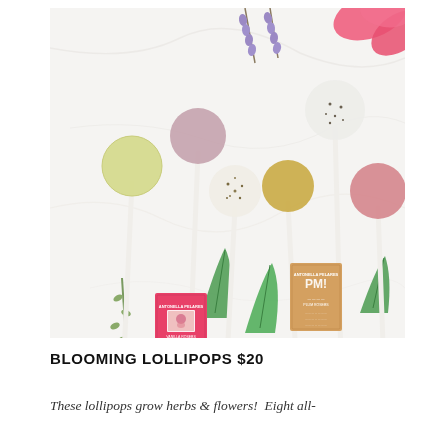[Figure (photo): Overhead flat-lay photo of six botanical lollipops with white sticks arranged on a white marble surface. Colors include pale yellow, mauve/pink, white with speckles, golden yellow, white/cream, and pink. Two small square product boxes labeled 'Antonella Pelares' in pink and tan are visible. Decorative herbs and flowers (lavender, mint leaves, thyme sprigs) and a pink rose petal are scattered around the lollipops.]
BLOOMING LOLLIPOPS $20
These lollipops grow herbs & flowers!  Eight all-